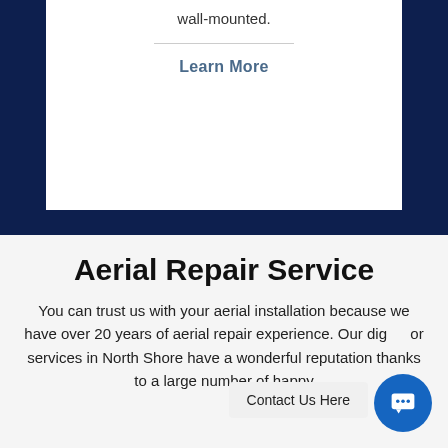wall-mounted.
Learn More
Aerial Repair Service
You can trust us with your aerial installation because we have over 20 years of aerial repair experience. Our dig… or services in North Shore have a wonderful reputation thanks to a large number of happy